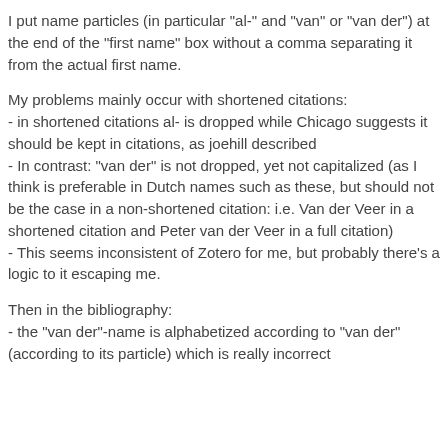I put name particles (in particular "al-" and "van" or "van der") at the end of the "first name" box without a comma separating it from the actual first name.
My problems mainly occur with shortened citations:
- in shortened citations al- is dropped while Chicago suggests it should be kept in citations, as joehill described
- In contrast: "van der" is not dropped, yet not capitalized (as I think is preferable in Dutch names such as these, but should not be the case in a non-shortened citation: i.e. Van der Veer in a shortened citation and Peter van der Veer in a full citation)
- This seems inconsistent of Zotero for me, but probably there's a logic to it escaping me.
Then in the bibliography:
- the "van der"-name is alphabetized according to "van der" (according to its particle) which is really incorrect